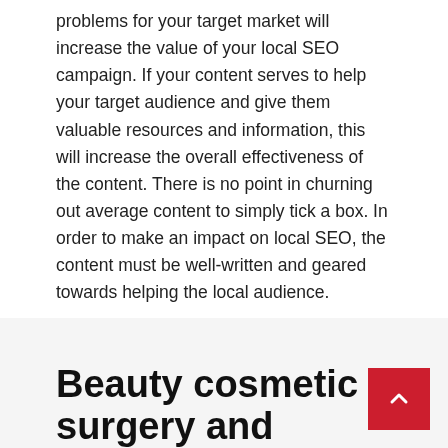problems for your target market will increase the value of your local SEO campaign. If your content serves to help your target audience and give them valuable resources and information, this will increase the overall effectiveness of the content. There is no point in churning out average content to simply tick a box. In order to make an impact on local SEO, the content must be well-written and geared towards helping the local audience.
June 15, 2021 | By John Concrane | Internet
Beauty cosmetic surgery and